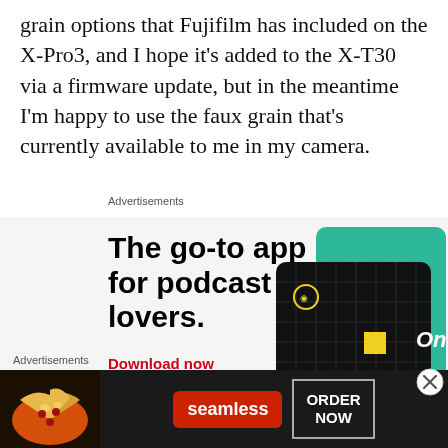grain options that Fujifilm has included on the X-Pro3, and I hope it's added to the X-T30 via a firmware update, but in the meantime I'm happy to use the faux grain that's currently available to me in my camera.
Advertisements
[Figure (illustration): Advertisement for a podcast app: bold sans-serif text reading 'The go-to app for podcast lovers.' with a red 'Download now' link and an image of podcast app cards including '99% Invisible' on a dark background.]
Advertisements
[Figure (illustration): Banner advertisement for Seamless food delivery showing pizza, Seamless logo in red, and 'ORDER NOW' button on dark background.]